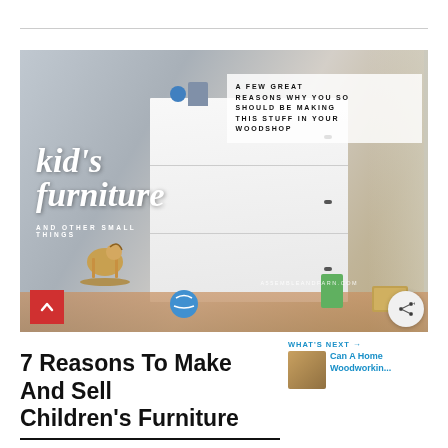[Figure (photo): Kid's furniture promotional image showing a children's room with a white dresser, rocking horse, toys, and text overlays reading "kid's furniture and other small things" and "A FEW GREAT REASONS WHY YOU SHOULD BE MAKING THIS STUFF IN YOUR WOODSHOP" with website assembleandarn.com]
7 Reasons To Make And Sell Children's Furniture